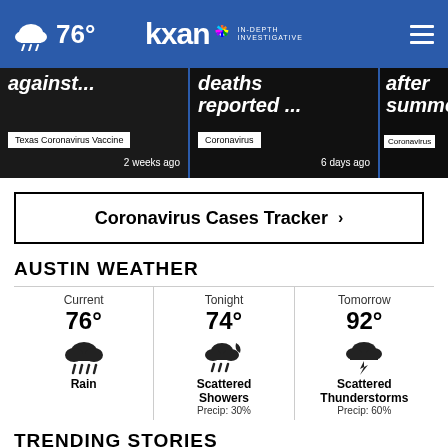76° KXAN IN-DEPTH INVESTIGATIVE
[Figure (screenshot): News cards: 'against...' Texas Coronavirus Vaccine 2 weeks ago | 'deaths reported...' Coronavirus 6 days ago | 'after summer...' Coronavirus]
Coronavirus Cases Tracker ›
AUSTIN WEATHER
Current 76° Rain | Tonight 74° Scattered Showers Precip: 30% | Tomorrow 92° Scattered Thunderstorms Precip: 60%
TRENDING STORIES